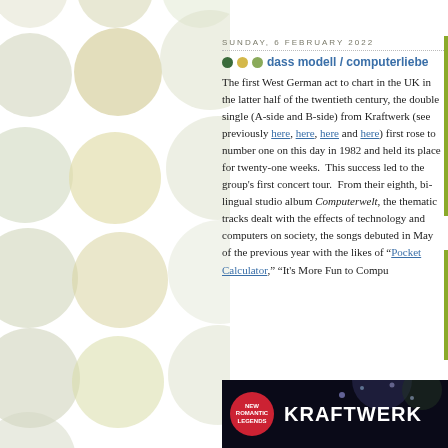[Figure (illustration): Decorative background with circles/dots in muted green and yellow tones arranged in a grid pattern on white background, left side of page]
SUNDAY, 6 FEBRUARY 2022
dass modell / computerliebe
The first West German act to chart in the UK in the latter half of the twentieth century, the double single (A-side and B-side) from Kraftwerk (see previously here, here, here and here) first rose to number one on this day in 1982 and held its place for twenty-one weeks.  This success led to the group’s first concert tour.  From their eighth, bi-lingual studio album Computerwelt, the thematic tracks dealt with the effects of technology and computers on society, the songs debuted in May of the previous year with the likes of “Pocket Calculator,” “It’s More Fun to Compu
[Figure (photo): Thumbnail image showing Kraftwerk branding: red circular badge with 'New Romantic Legends' text, and 'KRAFTWERK' in large white letters on dark background]